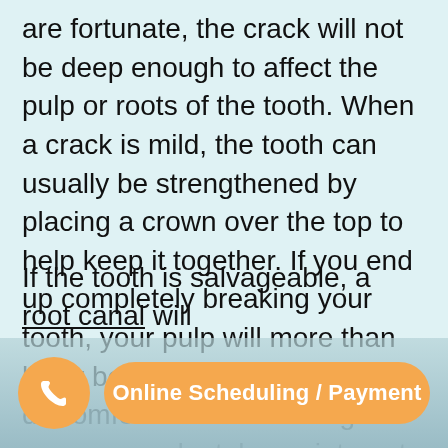are fortunate, the crack will not be deep enough to affect the pulp or roots of the tooth. When a crack is mild, the tooth can usually be strengthened by placing a crown over the top to help keep it together. If you end up completely breaking your tooth, your pulp will more than likely be exposed, causing discomfort and constituting an emergency dental appointment. It is not uncommon when the nerve is exposed for the tooth to bleed at the pulp of the tooth. The pulp of the tooth conta...
If the tooth is salvageable, a root canal will